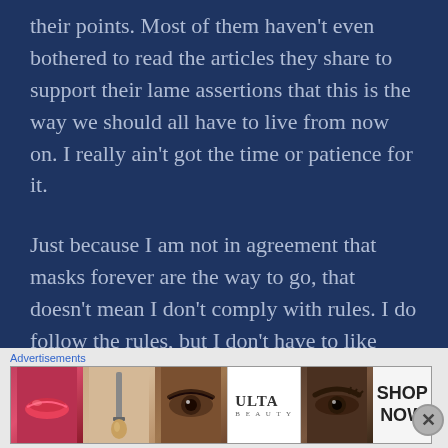their points. Most of them haven't even bothered to read the articles they share to support their lame assertions that this is the way we should all have to live from now on. I really ain't got the time or patience for it.

Just because I am not in agreement that masks forever are the way to go, that doesn't mean I don't comply with rules. I do follow the rules, but I don't have to like them. I can comment negatively about them
[Figure (other): Advertisement banner showing Ulta Beauty cosmetics ad with images of lips, makeup brush, eyes, Ulta logo, and Shop Now button]